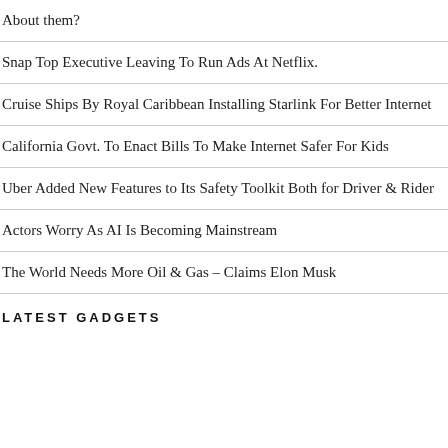About them?
Snap Top Executive Leaving To Run Ads At Netflix.
Cruise Ships By Royal Caribbean Installing Starlink For Better Internet
California Govt. To Enact Bills To Make Internet Safer For Kids
Uber Added New Features to Its Safety Toolkit Both for Driver & Rider
Actors Worry As AI Is Becoming Mainstream
The World Needs More Oil & Gas – Claims Elon Musk
LATEST GADGETS